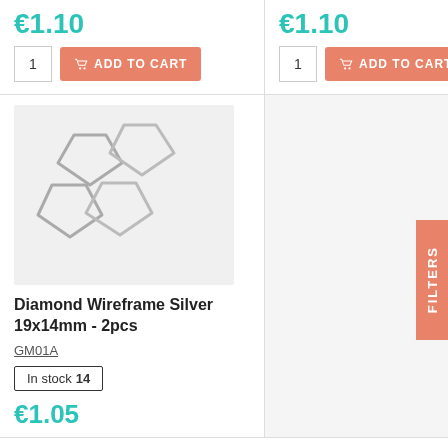€1.10
ADD TO CART
€1.10
ADD TO CART
[Figure (photo): Four silver diamond wireframe shapes arranged in a 2x2 grid on a light gray background]
Diamond Wireframe Silver 19x14mm - 2pcs
GM01A
In stock 14
€1.05
ADD TO CART